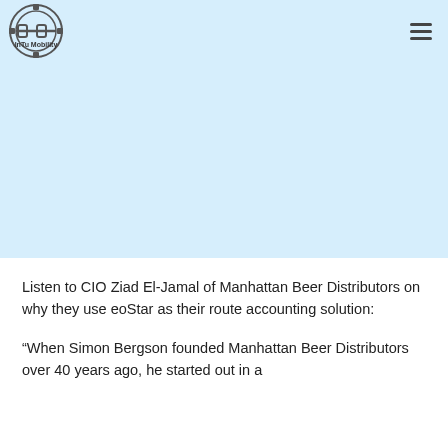InTu Mobility
[Figure (other): Video placeholder area with light blue background]
Listen to CIO Ziad El-Jamal of Manhattan Beer Distributors on why they use eoStar as their route accounting solution:
“When Simon Bergson founded Manhattan Beer Distributors over 40 years ago, he started out in a